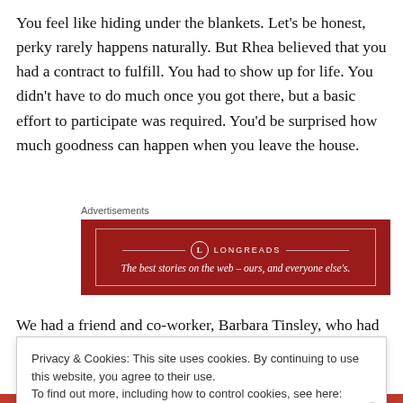You feel like hiding under the blankets. Let’s be honest, perky rarely happens naturally. But Rhea believed that you had a contract to fulfill. You had to show up for life. You didn’t have to do much once you got there, but a basic effort to participate was required. You’d be surprised how much goodness can happen when you leave the house.
[Figure (other): Longreads advertisement banner: red background with white border, Longreads logo and text 'The best stories on the web – ours, and everyone else’s.']
We had a friend and co-worker, Barbara Tinsley, who had
Privacy & Cookies: This site uses cookies. By continuing to use this website, you agree to their use.
To find out more, including how to control cookies, see here: Cookie Policy

Close and accept